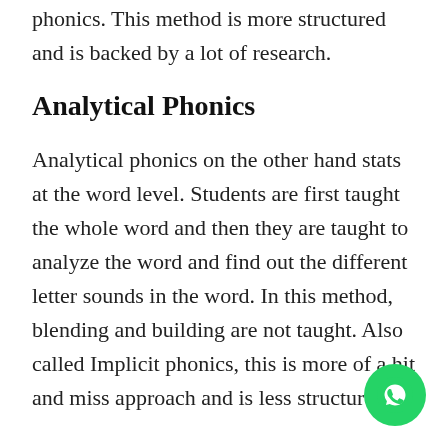phonics. This method is more structured and is backed by a lot of research.
Analytical Phonics
Analytical phonics on the other hand stats at the word level. Students are first taught the whole word and then they are taught to analyze the word and find out the different letter sounds in the word. In this method, blending and building are not taught. Also called Implicit phonics, this is more of a hit and miss approach and is less structure